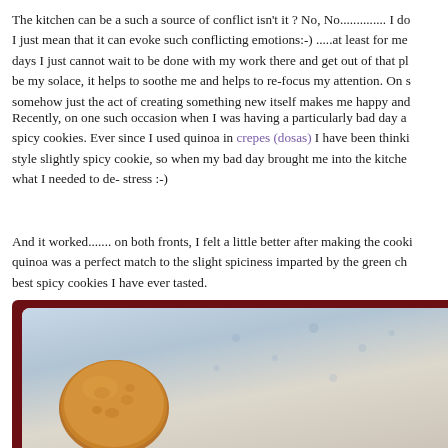The kitchen can be a such a source of conflict isn't it ? No, No.............. I do I just mean that it can evoke such conflicting emotions:-) .....at least for me days I just cannot wait to be done with my work there and get out of that pl be my solace, it helps to soothe me and helps to re-focus my attention. On s somehow just the act of creating something new itself makes me happy and
Recently, on one such occasion when I was having a particularly bad day a spicy cookies. Ever since I used quinoa in crepes (dosas) I have been thinki style slightly spicy cookie, so when my bad day brought me into the kitche what I needed to de- stress :-)
And it worked....... on both fronts, I felt a little better after making the cooki quinoa was a perfect match to the slight spiciness imparted by the green ch best spicy cookies I have ever tasted.
[Figure (photo): A photograph of a round spicy cookie/biscuit on a plate with a decorative background, framed with a dark maroon border]